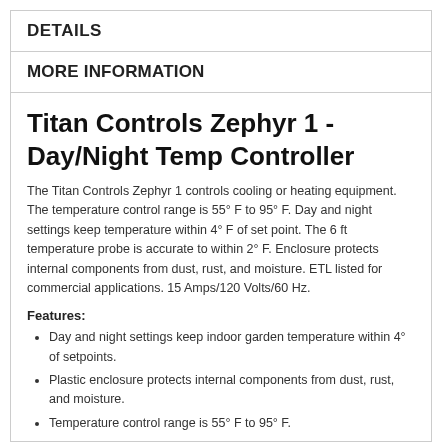DETAILS
MORE INFORMATION
Titan Controls Zephyr 1 - Day/Night Temp Controller
The Titan Controls Zephyr 1 controls cooling or heating equipment. The temperature control range is 55° F to 95° F. Day and night settings keep temperature within 4° F of set point. The 6 ft temperature probe is accurate to within 2° F. Enclosure protects internal components from dust, rust, and moisture. ETL listed for commercial applications. 15 Amps/120 Volts/60 Hz.
Features:
Day and night settings keep indoor garden temperature within 4° of setpoints.
Plastic enclosure protects internal components from dust, rust, and moisture.
Temperature control range is 55° F to 95° F.